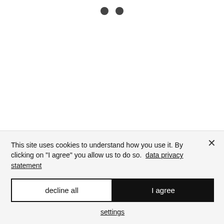[Figure (other): Two dark gray dots/circles centered near top of page, part of a loading or carousel indicator UI element]
This site uses cookies to understand how you use it. By clicking on "I agree" you allow us to do so.  data privacy statement
decline all
I agree
settings